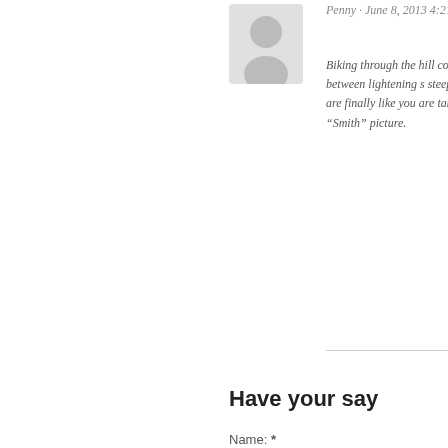[Figure (illustration): Gray avatar/user silhouette icon placeholder image]
Penny · June 8, 2013 4:21 pm
Biking through the hill country of challenging between lightening s steep roads. Glad you are finally like you are taking the challenges “Smith” picture.
Have your say
Name: *
Email: *
Website: